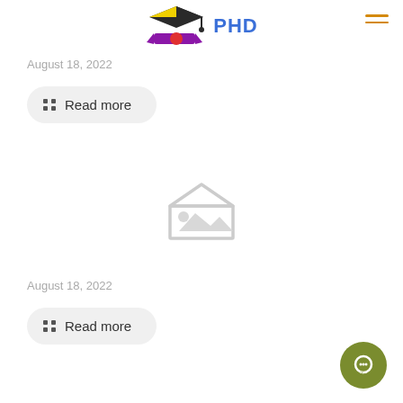[Figure (logo): PHD education logo with graduation cap in yellow and black, diploma ribbon in purple, and red circle, with blue PHD text]
August 18, 2022
Read more
[Figure (illustration): Gray placeholder image icon showing a mountain/landscape image placeholder]
August 18, 2022
Read more